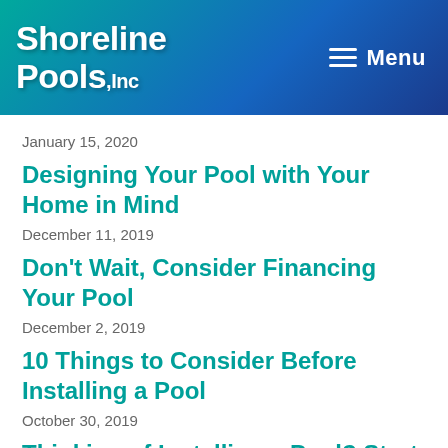Shoreline Pools, Inc — Menu
January 15, 2020
Designing Your Pool with Your Home in Mind
December 11, 2019
Don't Wait, Consider Financing Your Pool
December 2, 2019
10 Things to Consider Before Installing a Pool
October 30, 2019
Thinking of Installing a Pool? Start